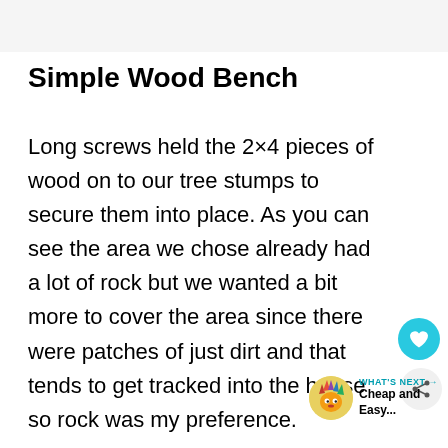Simple Wood Bench
Long screws held the 2×4 pieces of wood on to our tree stumps to secure them into place. As you can see the area we chose already had a lot of rock but we wanted a bit more to cover the area since there were patches of just dirt and that tends to get tracked into the house so rock was my preference.
[Figure (infographic): WHAT'S NEXT arrow label with avatar icon and text 'Cheap and Easy...']